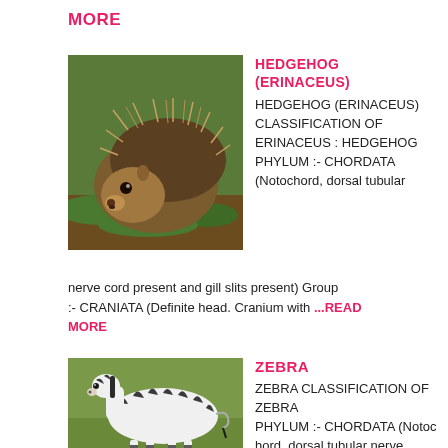MORE
HEDGEHOG (ERINACEUS)
[Figure (photo): Close-up photo of a hedgehog (Erinaceus) with spines visible, facing left, on a natural background with leaves]
HEDGEHOG (ERINACEUS) CLASSIFICATION OF ERINACEUS : HEDGEHOG PHYLUM :- CHORDATA (Notochord, dorsal tubular nerve cord present and gill slits present) Group :- CRANIATA (Definite head. Cranium with ...READ MORE
ZEBRA
[Figure (photo): Photo of a zebra standing in a grassy field, showing its black and white stripes]
ZEBRA CLASSIFICATION OF ZEBRA PHYLUM :- CHORDATA (Notochord, dorsal tubular nerve